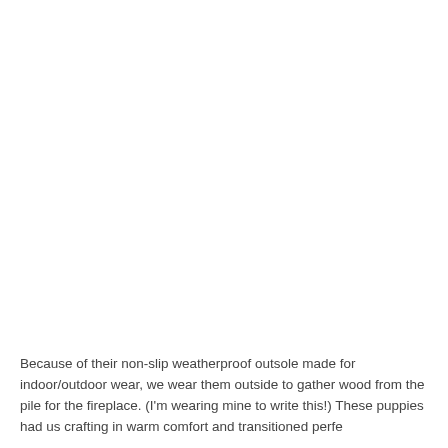Because of their non-slip weatherproof outsole made for indoor/outdoor wear, we wear them outside to gather wood from the pile for the fireplace. (I'm wearing mine to write this!) These puppies had us crafting in warm comfort and transitioned perfe